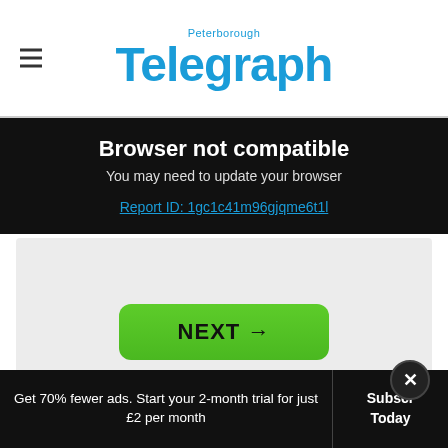Peterborough Telegraph
Browser not compatible
You may need to update your browser
Report ID: 1gc1c41m96gjqme6t1l
[Figure (other): Grey content placeholder area with NEXT button]
[Figure (other): Lidl advertisement banner: Lidl Groceries Are Low-Priced]
Get 70% fewer ads. Start your 2-month trial for just £2 per month
Subscribe Today